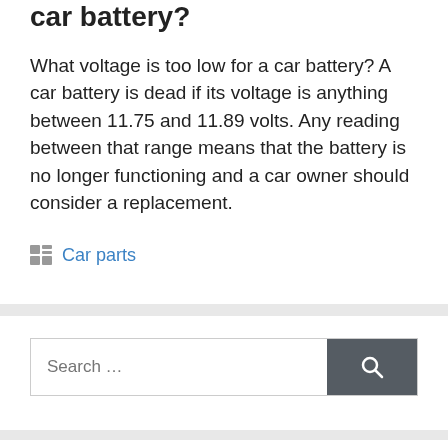car battery?
What voltage is too low for a car battery? A car battery is dead if its voltage is anything between 11.75 and 11.89 volts. Any reading between that range means that the battery is no longer functioning and a car owner should consider a replacement.
Car parts
Search …
From the author